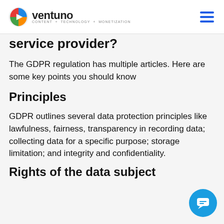ventuno CONTENT + TECHNOLOGY + MONETIZATION
service provider?
The GDPR regulation has multiple articles. Here are some key points you should know
Principles
GDPR outlines several data protection principles like lawfulness, fairness, transparency in recording data; collecting data for a specific purpose; storage limitation; and integrity and confidentiality.
Rights of the data subject